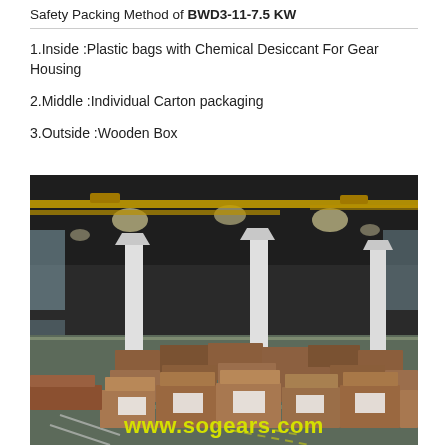Safety Packing Method of BWD3-11-7.5 KW
1.Inside :Plastic bags with Chemical Desiccant For Gear Housing
2.Middle :Individual Carton packaging
3.Outside :Wooden Box
[Figure (photo): Warehouse interior showing many brown wooden/cardboard boxes stacked on pallets on a large factory floor with overhead cranes and steel columns. Yellow text overlay reads www.sogears.com]